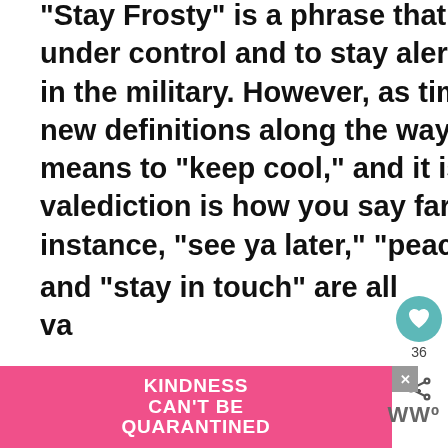“Stay Frosty” is a phrase that means to keep one’s emotions under control and to stay alert and on one’s toes and is used in the military. However, as time passed by, it started gaining new definitions along the way. For one thing, it now also means to “keep cool,” and it is used as a valediction as well (a valediction is how you say farewell or goodbye to others. For instance, “see ya later,” “peace,” and “stay in touch” are all va...
[Figure (screenshot): UI overlay with heart/like button showing 36 likes, a share icon, and a 'What's Next' recommendation box showing 'Hitched breath' article with thumbnail]
[Figure (infographic): Pink advertisement banner reading 'KINDNESS CAN'T BE QUARANTINED' with a close button and WW logo]